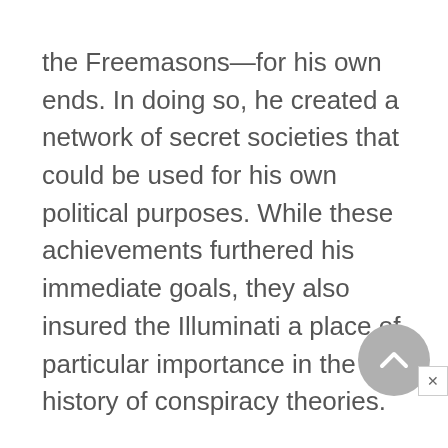the Freemasons—for his own ends. In doing so, he created a network of secret societies that could be used for his own political purposes. While these achievements furthered his immediate goals, they also insured the Illuminati a place of particular importance in the history of conspiracy theories.